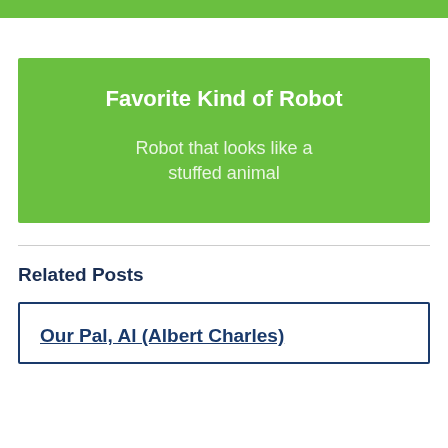Favorite Kind of Robot
Robot that looks like a stuffed animal
Related Posts
Our Pal, Al (Albert Charles)